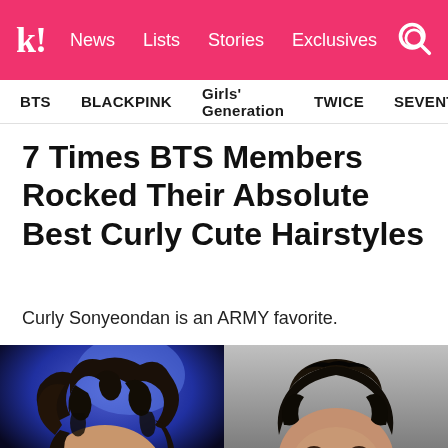k! News Lists Stories Exclusives
BTS   BLACKPINK   Girls' Generation   TWICE   SEVENTEEN
7 Times BTS Members Rocked Their Absolute Best Curly Cute Hairstyles
Curly Sonyeondan is an ARMY favorite.
[Figure (photo): Two side-by-side photos of BTS members with curly hairstyles. Left photo shows a member with long curly dark hair on a blue-lit stage. Right photo shows a member with shorter curly dark hair.]